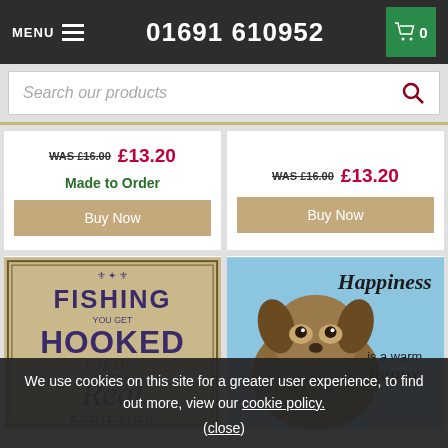MENU  01691 610952  0
Search our products
WAS £16.00  £13.20  Made to Order  Buy Now
WAS £16.00  £13.20  Buy Now
[Figure (photo): Fishing sign: FISHING YOU GET HOOKED FOR LIFE AS IT'S A REAL ADDICTION]
[Figure (photo): Dog sign: Happiness is a warm puppy with Yorkshire Terrier photo]
We use cookies on this site for a greater user experience, to find out more, view our cookie policy.
(close)